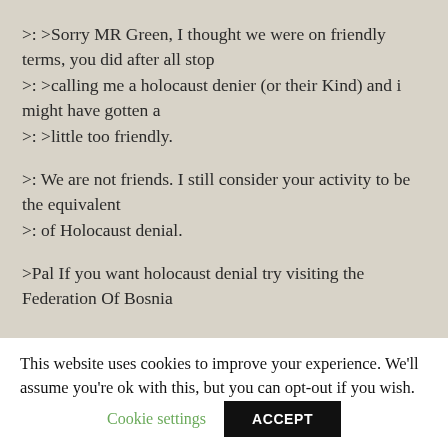>: >Sorry MR Green, I thought we were on friendly terms, you did after all stop
>: >calling me a holocaust denier (or their Kind) and i might have gotten a
>: >little too friendly.

>: We are not friends. I still consider your activity to be the equivalent
>: of Holocaust denial.

>Pal If you want holocaust denial try visiting the Federation Of Bosnia
This website uses cookies to improve your experience. We'll assume you're ok with this, but you can opt-out if you wish.
Cookie settings
ACCEPT